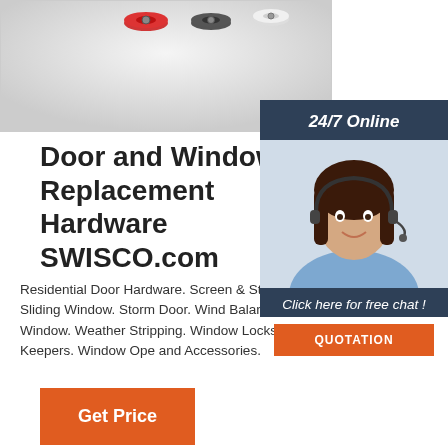[Figure (photo): Product photo showing door and window hardware components — small rollers and washers in red, black, grey, and white colors arranged on a light grey background]
Door and Window Replacement Hardware SWISCO.com
Residential Door Hardware. Screen & Storm Panel. Sliding Window. Storm Door. Window Balances. Tilt Window. Weather Stripping. Window Locks and Keepers. Window Ope... and Accessories.
[Figure (photo): Chat widget overlay showing a woman with headset (customer support agent) on a dark navy background with '24/7 Online' text and 'Click here for free chat!' call to action, with an orange QUOTATION button]
Get Price